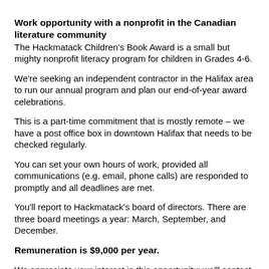Work opportunity with a nonprofit in the Canadian literature community
The Hackmatack Children's Book Award is a small but mighty nonprofit literacy program for children in Grades 4-6.
We're seeking an independent contractor in the Halifax area to run our annual program and plan our end-of-year award celebrations.
This is a part-time commitment that is mostly remote – we have a post office box in downtown Halifax that needs to be checked regularly.
You can set your own hours of work, provided all communications (e.g. email, phone calls) are responded to promptly and all deadlines are met.
You'll report to Hackmatack's board of directors. There are three board meetings a year: March, September, and December.
Remuneration is $9,000 per year.
We appreciate your interest in this opportunity; we'll contact